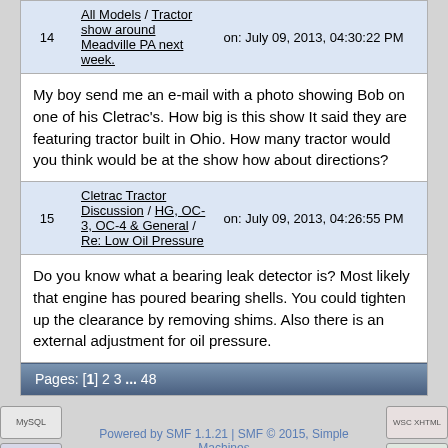| # | Topic/Link | Date |
| --- | --- | --- |
| 14 | All Models / Tractor show around Meadville PA next week. | on: July 09, 2013, 04:30:22 PM |
|  | My boy send me an e-mail with a photo showing Bob on one of his Cletrac's. How big is this show It said they are featuring tractor built in Ohio. How many tractor would you think would be at the show how about directions? |  |
| 15 | Cletrac Tractor Discussion / HG, OC-3, OC-4 & General / Re: Low Oil Pressure | on: July 09, 2013, 04:26:55 PM |
|  | Do you know what a bearing leak detector is? Most likely that engine has poured bearing shells. You could tighten up the clearance by removing shims. Also there is an external adjustment for oil pressure. |  |
Pages: [1] 2 3 ... 48
Powered by SMF 1.1.21 | SMF © 2015, Simple Machines